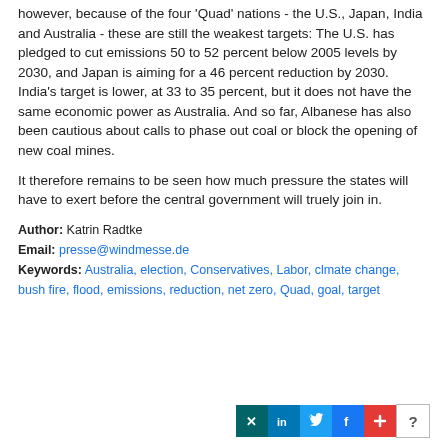however, because of the four 'Quad' nations - the U.S., Japan, India and Australia - these are still the weakest targets: The U.S. has pledged to cut emissions 50 to 52 percent below 2005 levels by 2030, and Japan is aiming for a 46 percent reduction by 2030. India's target is lower, at 33 to 35 percent, but it does not have the same economic power as Australia. And so far, Albanese has also been cautious about calls to phase out coal or block the opening of new coal mines.
It therefore remains to be seen how much pressure the states will have to exert before the central government will truely join in.
Author: Katrin Radtke
Email: presse@windmesse.de
Keywords: Australia, election, Conservatives, Labor, clmate change, bush fire, flood, emissions, reduction, net zero, Quad, goal, target